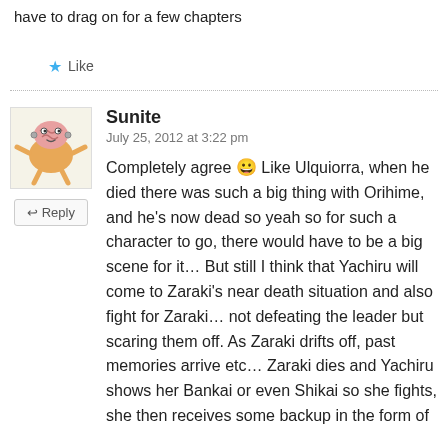have to drag on for a few chapters
★ Like
Sunite
July 25, 2012 at 3:22 pm

Completely agree 😀 Like Ulquiorra, when he died there was such a big thing with Orihime, and he's now dead so yeah so for such a character to go, there would have to be a big scene for it… But still I think that Yachiru will come to Zaraki's near death situation and also fight for Zaraki… not defeating the leader but scaring them off. As Zaraki drifts off, past memories arrive etc… Zaraki dies and Yachiru shows her Bankai or even Shikai so she fights, she then receives some backup in the form of